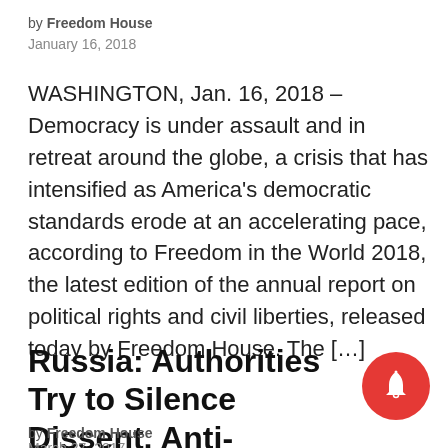by Freedom House
January 16, 2018
WASHINGTON, Jan. 16, 2018 – Democracy is under assault and in retreat around the globe, a crisis that has intensified as America's democratic standards erode at an accelerating pace, according to Freedom in the World 2018, the latest edition of the annual report on political rights and civil liberties, released today by Freedom House. The […]
Russia: Authorities Try to Silence Dissent, Anti-Corruption Protes…
by Freedom House
March 27, 2017